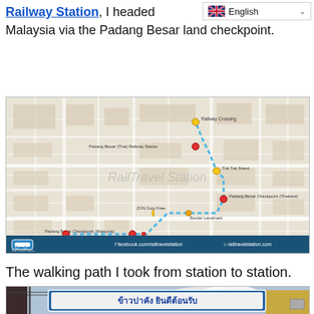Railway Station, I headed Malaysia via the Padang Besar land checkpoint.
[Figure (map): Map showing walking path from Padang Besar (Thai) Railway Station to Padang Besar (Malaysia) Railway Station via the border checkpoint. Dotted blue route line connecting stations through ZON Duty Free and Border Landmark points. Branded with RailTravelStation.com logo and social media info.]
The walking path I took from station to station.
[Figure (photo): Photo of a blue sign in Thai script reading welcome text, taken from below against a partly cloudy sky, with a yellow building visible to the right.]